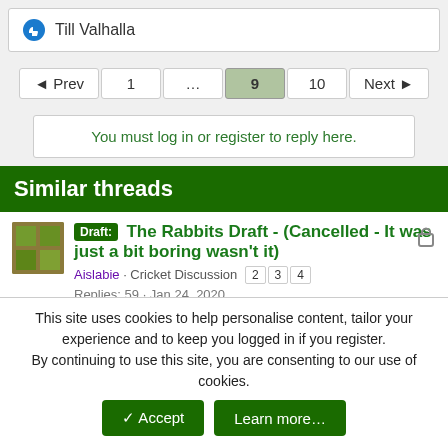Till Valhalla
◄ Prev  1  ...  9  10  Next ►
You must log in or register to reply here.
Similar threads
Draft: The Rabbits Draft - (Cancelled - It was just a bit boring wasn't it)  Aislabie · Cricket Discussion  2 3 4  Replies: 59 · Jan 24, 2020
Draft: The Lasagne Draft  Aislabie · Cricket Discussion  18 19 20
This site uses cookies to help personalise content, tailor your experience and to keep you logged in if you register. By continuing to use this site, you are consenting to our use of cookies.